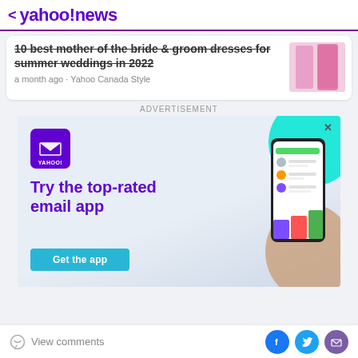< yahoo!news
10 best mother of the bride & groom dresses for summer weddings in 2022
a month ago · Yahoo Canada Style
ADVERTISEMENT
[Figure (screenshot): Yahoo Mail advertisement banner showing 'Try the top-rated email app' with Yahoo logo, a hand holding a smartphone with the email app, teal arc decoration, and a 'Get the app' button.]
View comments